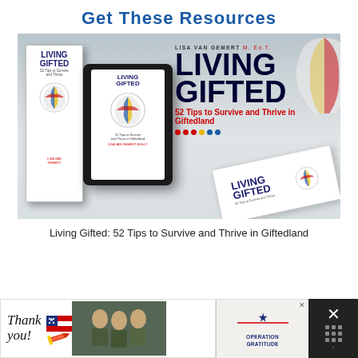Get These Resources
[Figure (photo): Book promotion image showing 'Living Gifted: 52 Tips to Survive and Thrive in Giftedland' by Lisa Van Gemert M.Ed.T. in multiple formats: physical book, e-reader/tablet version, and flat book, with brain illustration on covers]
Living Gifted: 52 Tips to Survive and Thrive in Giftedland
[Figure (photo): Advertisement banner: 'Thank you!' with American flag pencil graphic, soldiers photo, Operation Gratitude logo, with close button]